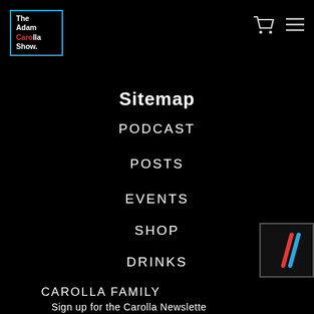[Figure (logo): The Adam Carolla Show logo in a blue-bordered box]
[Figure (illustration): Shopping cart and hamburger menu icons in white]
Sitemap
PODCAST
POSTS
EVENTS
SHOP
DRINKS
CAROLLA FAMILY
CONTACT
[Figure (logo): Small badge with two diagonal stripes in red and blue on black background]
Sign up for the Carolla Newsletter